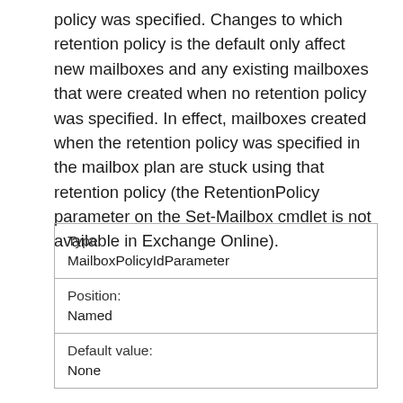policy was specified. Changes to which retention policy is the default only affect new mailboxes and any existing mailboxes that were created when no retention policy was specified. In effect, mailboxes created when the retention policy was specified in the mailbox plan are stuck using that retention policy (the RetentionPolicy parameter on the Set-Mailbox cmdlet is not available in Exchange Online).
| Type: | MailboxPolicyIdParameter |
| Position: | Named |
| Default value: | None |